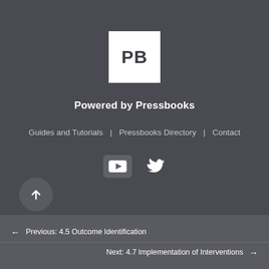[Figure (logo): Pressbooks logo: white square with bold PB text]
Powered by Pressbooks
Guides and Tutorials | Pressbooks Directory | Contact
[Figure (other): Social media icons: YouTube and Twitter]
← Previous: 4.5 Outcome Identification
Next: 4.7 Implementation of Interventions →